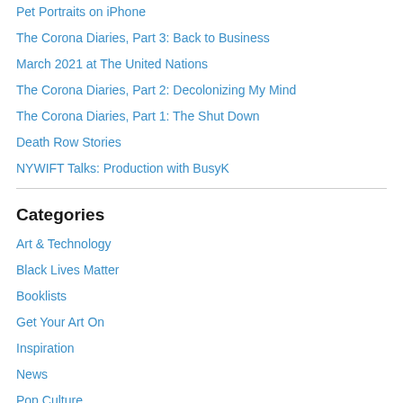Pet Portraits on iPhone
The Corona Diaries, Part 3: Back to Business
March 2021 at The United Nations
The Corona Diaries, Part 2: Decolonizing My Mind
The Corona Diaries, Part 1: The Shut Down
Death Row Stories
NYWIFT Talks: Production with BusyK
Categories
Art & Technology
Black Lives Matter
Booklists
Get Your Art On
Inspiration
News
Pop Culture
Review
Work